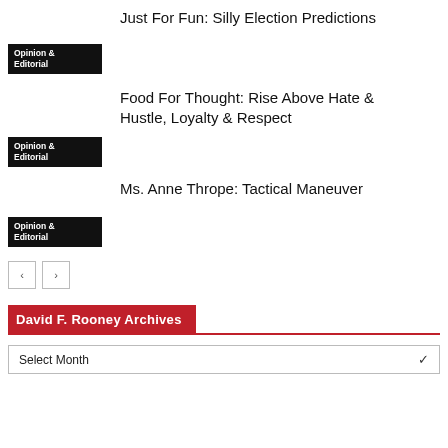Just For Fun: Silly Election Predictions
[Figure (other): Black 'Opinion & Editorial' badge/label]
Food For Thought: Rise Above Hate & Hustle, Loyalty & Respect
[Figure (other): Black 'Opinion & Editorial' badge/label]
Ms. Anne Thrope: Tactical Maneuver
[Figure (other): Black 'Opinion & Editorial' badge/label]
David F. Rooney Archives
Select Month